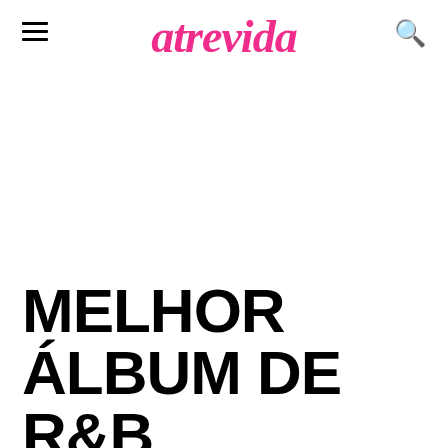atrevida
MELHOR ÁLBUM DE R&B
Happy 2 Be Here, Ant Clemons